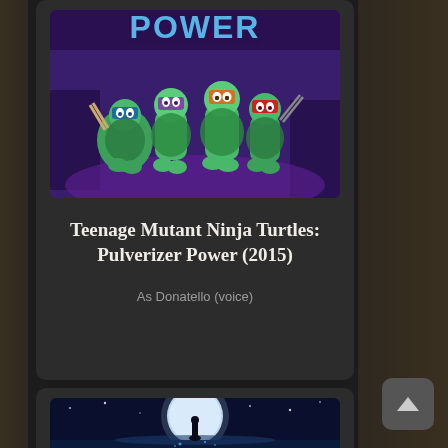[Figure (screenshot): Movie poster for Teenage Mutant Ninja Turtles: Pulverizer Power (2015) showing the four turtles in action poses with 'POWER' text visible, purple/dark background]
Teenage Mutant Ninja Turtles: Pulverizer Power (2015)
As Donatello (voice)
[Figure (screenshot): Movie poster showing a figure in front of a large bright moon over water, dark blue night scene]